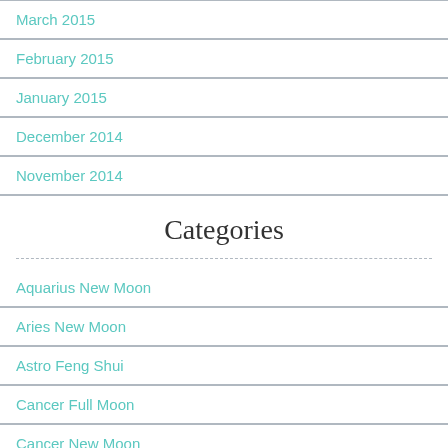March 2015
February 2015
January 2015
December 2014
November 2014
Categories
Aquarius New Moon
Aries New Moon
Astro Feng Shui
Cancer Full Moon
Cancer New Moon